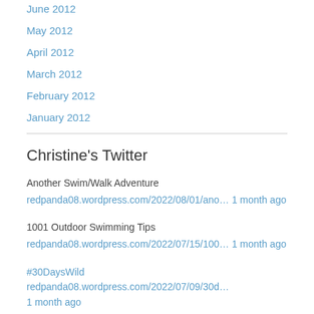June 2012
May 2012
April 2012
March 2012
February 2012
January 2012
Christine's Twitter
Another Swim/Walk Adventure redpanda08.wordpress.com/2022/08/01/ano… 1 month ago
1001 Outdoor Swimming Tips redpanda08.wordpress.com/2022/07/15/100… 1 month ago
#30DaysWild redpanda08.wordpress.com/2022/07/09/30d… 1 month ago
A Small Measure of Peace redpanda08.wordpress.com/2022/06/13/a-s… 2 months ago